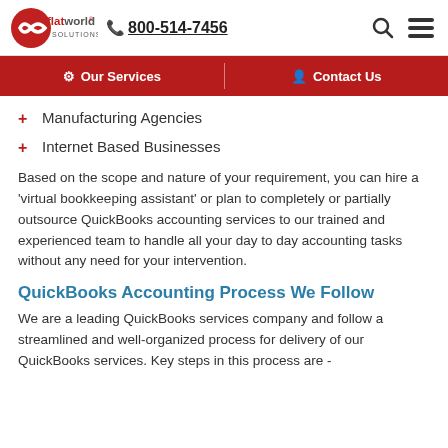flatworld solutions | 800-514-7456
Our Services | Contact Us
Manufacturing Agencies
Internet Based Businesses
Based on the scope and nature of your requirement, you can hire a 'virtual bookkeeping assistant' or plan to completely or partially outsource QuickBooks accounting services to our trained and experienced team to handle all your day to day accounting tasks without any need for your intervention.
QuickBooks Accounting Process We Follow
We are a leading QuickBooks services company and follow a streamlined and well-organized process for delivery of our QuickBooks services. Key steps in this process are -